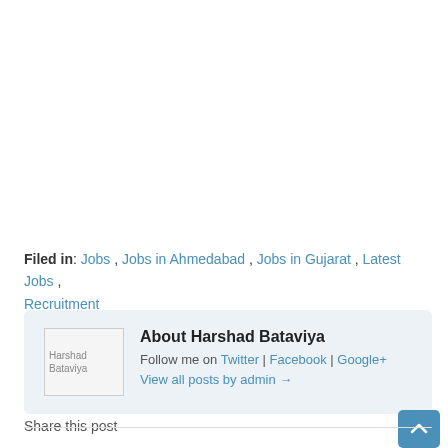Filed in: Jobs , Jobs in Ahmedabad , Jobs in Gujarat , Latest Jobs , Recruitment
About Harshad Bataviya
Follow me on Twitter | Facebook | Google+
View all posts by admin →
Share this post